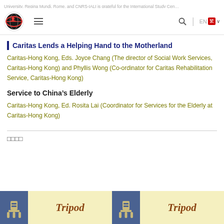University, Regina Mundi, Rome, and CNRS-IALI is grateful for the International Study Cen...
[Figure (logo): Circular logo with globe and figure, red and black colors]
Caritas Lends a Helping Hand to the Motherland
Caritas-Hong Kong, Eds. Joyce Chang (The director of Social Work Services, Caritas-Hong Kong) and Phyllis Wong (Co-ordinator for Caritas Rehabilitation Service, Caritas-Hong Kong)
Service to China's Elderly
Caritas-Hong Kong, Ed. Rosita Lai (Coordinator for Services for the Elderly at Caritas-Hong Kong)
□□□□
[Figure (illustration): Two Tripod journal cover thumbnails side by side, each showing blue icon with Chinese character and yellow background with italic Tripod text]